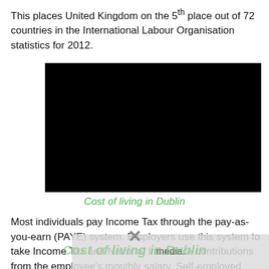This places United Kingdom on the 5th place out of 72 countries in the International Labour Organisation statistics for 2012.
[Figure (other): Black video placeholder rectangle for a video about Cost of living in Dublin]
Cost of living in Dublin
Most individuals pay Income Tax through the pay-as-you-earn (PAYE) system. Employers use this system to take Income Tax and National Insurance contributions from the employee's monthly salary. Self-employed individuals may